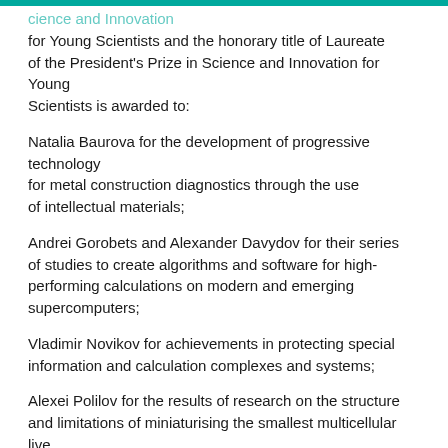ience and Innovation for Young Scientists and the honorary title of Laureate of the President's Prize in Science and Innovation for Young Scientists is awarded to:
Natalia Baurova for the development of progressive technology for metal construction diagnostics through the use of intellectual materials;
Andrei Gorobets and Alexander Davydov for their series of studies to create algorithms and software for high-performing calculations on modern and emerging supercomputers;
Vladimir Novikov for achievements in protecting special information and calculation complexes and systems;
Alexei Polilov for the results of research on the structure and limitations of miniaturising the smallest multicellular live organisms.